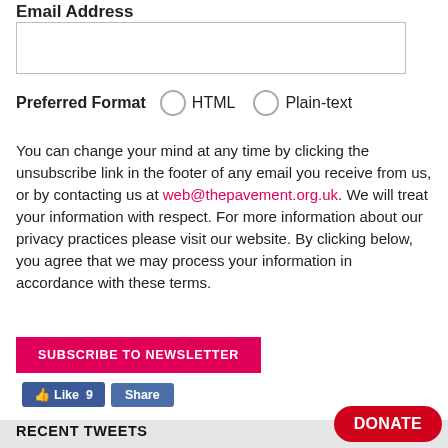Email Address
[Figure (other): Empty email address input text box]
Preferred Format   ○ HTML   ○ Plain-text
You can change your mind at any time by clicking the unsubscribe link in the footer of any email you receive from us, or by contacting us at web@thepavement.org.uk. We will treat your information with respect. For more information about our privacy practices please visit our website. By clicking below, you agree that we may process your information in accordance with these terms.
SUBSCRIBE TO NEWSLETTER
[Figure (other): Facebook Like (9) and Share buttons]
RECENT TWEETS
[Figure (other): DONATE button (red rounded rectangle)]